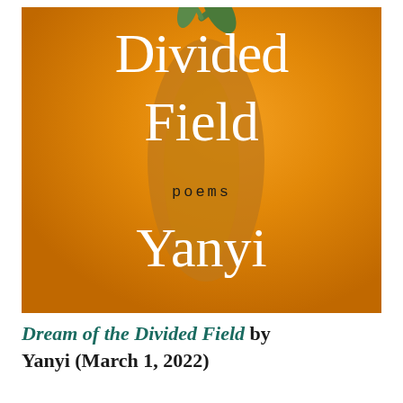[Figure (illustration): Book cover for 'Divided Field: poems' by Yanyi. Orange background with a leaf/fruit paper shape in the center. White serif text reads 'Divided Field' at top, 'poems' in monospace mid-cover, and 'Yanyi' at bottom.]
Dream of the Divided Field by Yanyi (March 1, 2022)